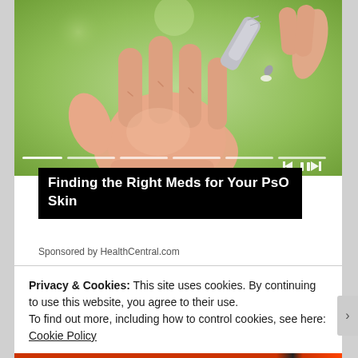[Figure (photo): Close-up photo of a hand with an open palm, and another hand holding a small tube/applicator dispensing cream onto it, with green background]
Finding the Right Meds for Your PsO Skin
Sponsored by HealthCentral.com
Privacy & Cookies: This site uses cookies. By continuing to use this website, you agree to their use.
To find out more, including how to control cookies, see here: Cookie Policy
Close and accept